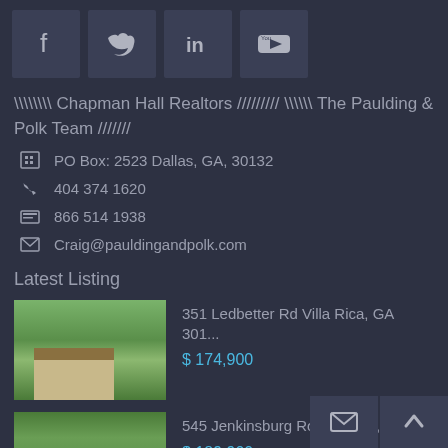[Figure (other): Social media icons row: Facebook, Twitter, LinkedIn, YouTube]
\\\\\\\\ Chapman Hall Realtors ///////// \\\\ The Paulding & Polk Team ///////
PO Box: 2523 Dallas, GA, 30132
404 374 1620
866 514 1938
Craig@pauldingandpolk.com
Latest Listing
351 Ledbetter Rd Villa Rica, GA 301...
$ 174,900
545 Jenkinsburg Road Griffin, Geo...
$ 189,900